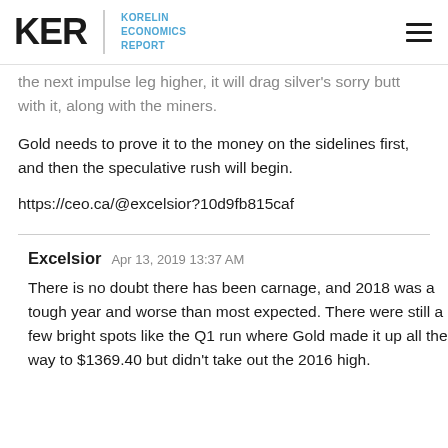KER | KORELIN ECONOMICS REPORT
the next impulse leg higher, it will drag silver's sorry butt with it, along with the miners.
Gold needs to prove it to the money on the sidelines first, and then the speculative rush will begin.
https://ceo.ca/@excelsior?10d9fb815caf
Excelsior  Apr 13, 2019 13:37 AM
There is no doubt there has been carnage, and 2018 was a tough year and worse than most expected. There were still a few bright spots like the Q1 run where Gold made it up all the way to $1369.40 but didn't take out the 2016 high.